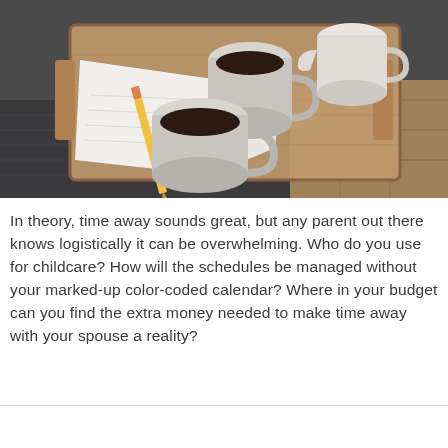[Figure (photo): A wooden serving tray on a dark grey upholstered ottoman or couch, holding two white ceramic mugs with dark coffee, a small white creamer/pitcher, and an open notebook with a pencil. Wood plank floor visible in background.]
In theory, time away sounds great, but any parent out there knows logistically it can be overwhelming. Who do you use for childcare? How will the schedules be managed without your marked-up color-coded calendar? Where in your budget can you find the extra money needed to make time away with your spouse a reality?